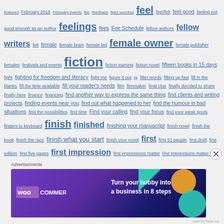featured February 2018 February events fee feedback feed success feel feel/felt feel good feeling not good enough as an author feelings fees Fee Schedule fellow authors fellow writers felt female female brain female led female owner female publisher females festivals and events fiction fiction earning fiction novel fifteen books in 15 days fight fighting for freedom and literacy fight me figure it out fiji filler words filling up fast fill in the blanks fill the time available fill your reader's needs film filmmaker final clue finally decided to share finally here finance financing find another way to express the same thing find clients and writing projects finding events near you find out what happened to her find the humour in bad situations find the possibilities find time Find your calling find your focus find your weak spots fingers to keyboard finish finished finishing your manuscript finish novel finish the book finish the race finish what you start finish your novel first first 51 people first draft first edition first five pages first impression first impressions matter first impressions matter for authors first one first page first person first person narrative fish book fit fit smoothly together five five elements of plot structure. five minutes to change your writing life five
[Figure (other): WooCommerce advertisement banner: 'Turn your hobby into a business in 8 steps' on dark purple background with decorative teal and orange shapes]